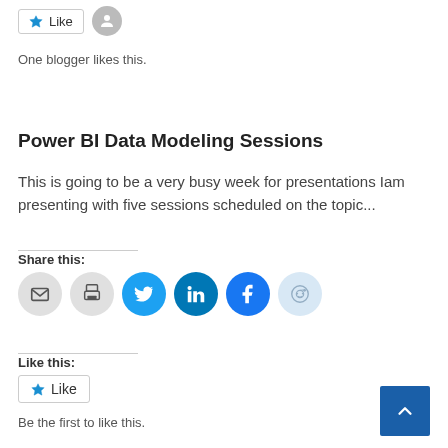[Figure (other): Like button with star icon and user avatar icon at top]
One blogger likes this.
Power BI Data Modeling Sessions
This is going to be a very busy week for presentations Iam presenting with five sessions scheduled on the topic...
Share this:
[Figure (other): Row of social sharing icon circles: email, print, Twitter, LinkedIn, Facebook, Reddit]
Like this:
[Figure (other): Like button with star icon]
Be the first to like this.